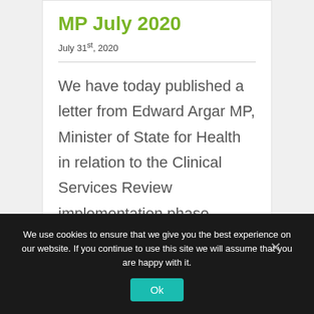MP July 2020
July 31st, 2020
We have today published a letter from Edward Argar MP, Minister of State for Health in relation to the Clinical Services Review implementation phase.
We use cookies to ensure that we give you the best experience on our website. If you continue to use this site we will assume that you are happy with it.